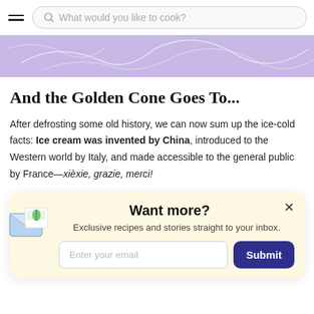What would you like to cook?
[Figure (illustration): Purple decorative banner with light swirl line patterns on a lavender background]
And the Golden Cone Goes To...
After defrosting some old history, we can now sum up the ice-cold facts: Ice cream was invented by China, introduced to the Western world by Italy, and made accessible to the general public by France—xie xie, grazie, merci!
[Figure (infographic): Newsletter signup popup with light yellow background. Title: Want more? Subtitle: Exclusive recipes and stories straight to your inbox. Email input field and Submit button. Decorative envelope icon on left side.]